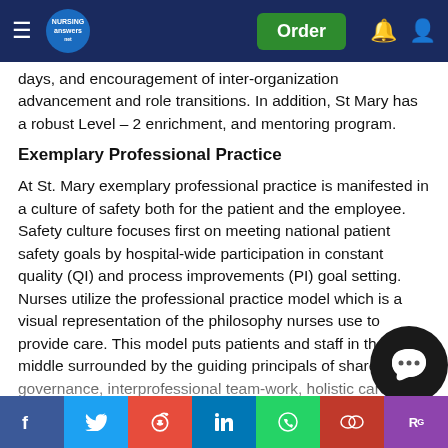Navigation bar with hamburger menu, NursingAnswers logo, Order button, notification and account icons
days, and encouragement of inter-organization advancement and role transitions. In addition, St Mary has a robust Level – 2 enrichment, and mentoring program.
Exemplary Professional Practice
At St. Mary exemplary professional practice is manifested in a culture of safety both for the patient and the employee. Safety culture focuses first on meeting national patient safety goals by hospital-wide participation in constant quality (QI) and process improvements (PI) goal setting. Nurses utilize the professional practice model which is a visual representation of the philosophy nurses use to provide care. This model puts patients and staff in the middle surrounded by the guiding principals of shared governance, interprofessional team-work, holistic care, professionalism, values, and evidence-based practice. Exemplary practice is further ensured by staff
Social share bar: Facebook, Twitter, Reddit, LinkedIn, WhatsApp, Mendeley, ResearchGate